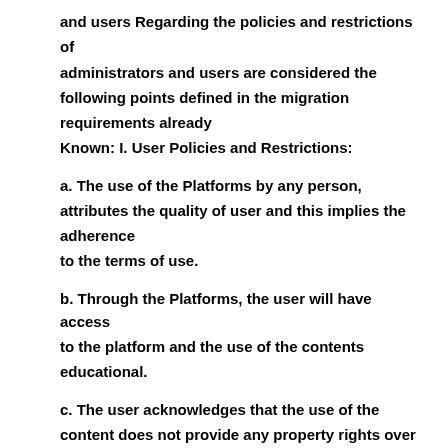and users Regarding the policies and restrictions of administrators and users are considered the following points defined in the migration requirements already Known: I. User Policies and Restrictions:
a. The use of the Platforms by any person, attributes the quality of user and this implies the adherence to the terms of use.
b. Through the Platforms, the user will have access to the platform and the use of the contents educational.
c. The user acknowledges that the use of the content does not provide any property rights over the content.